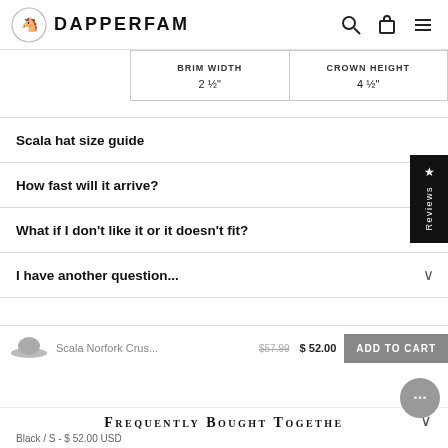DAPPERFAM
| BRIM WIDTH | CROWN HEIGHT |
| --- | --- |
| 2 ½" | 4 ½" |
Scala hat size guide
How fast will it arrive?
What if I don't like it or it doesn't fit?
I have another question...
Scala Norfork Crus... $57.99 $52.00 ADD TO CART
FREQUENTLY BOUGHT TOGETHER
Black / S - $ 52.00 USD